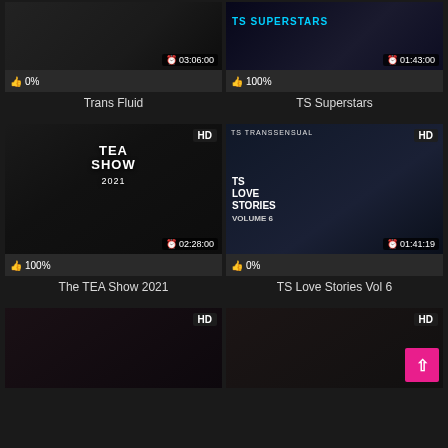[Figure (screenshot): Trans Fluid video thumbnail with clock icon 03:06:00 and 0% rating]
Trans Fluid
[Figure (screenshot): TS Superstars video thumbnail with clock icon 01:43:00 and 100% rating]
TS Superstars
[Figure (screenshot): The TEA Show 2021 HD video thumbnail with clock icon 02:28:00 and 100% rating]
The TEA Show 2021
[Figure (screenshot): TS Love Stories Vol 6 HD video thumbnail with clock icon 01:41:19 and 0% rating]
TS Love Stories Vol 6
[Figure (screenshot): Partial HD video thumbnail at bottom left]
[Figure (screenshot): Partial HD video thumbnail at bottom right with back-to-top button]